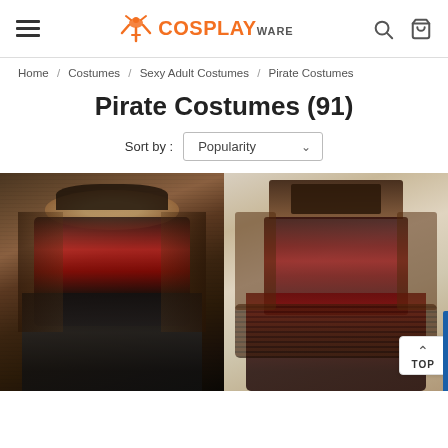CosplayWare — navigation header with hamburger menu, logo, search and cart icons
Home / Costumes / Sexy Adult Costumes / Pirate Costumes
Pirate Costumes (91)
Sort by : Popularity
[Figure (photo): Female model wearing a sexy pirate costume with black hat, red bra, lace sleeves, and fishnet stockings against a gothic architectural background]
[Figure (photo): Female model wearing a steampunk pirate costume with top hat, brown corset dress with ruffled hem against a light background]